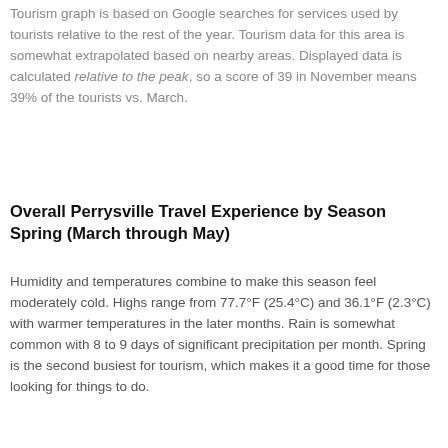Tourism graph is based on Google searches for services used by tourists relative to the rest of the year. Tourism data for this area is somewhat extrapolated based on nearby areas. Displayed data is calculated relative to the peak, so a score of 39 in November means 39% of the tourists vs. March.
Overall Perrysville Travel Experience by Season Spring (March through May)
Humidity and temperatures combine to make this season feel moderately cold. Highs range from 77.7°F (25.4°C) and 36.1°F (2.3°C) with warmer temperatures in the later months. Rain is somewhat common with 8 to 9 days of significant precipitation per month. Spring is the second busiest for tourism, which makes it a good time for those looking for things to do.